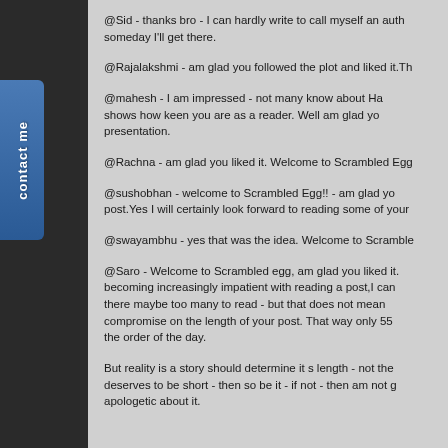@Sid - thanks bro - I can hardly write to call myself an auth someday I'll get there.
@Rajalakshmi - am glad you followed the plot and liked it.Th
@mahesh - I am impressed - not many know about Ha shows how keen you are as a reader. Well am glad yo presentation.
@Rachna - am glad you liked it. Welcome to Scrambled Egg
@sushobhan - welcome to Scrambled Egg!! - am glad yo post.Yes I will certainly look forward to reading some of your
@swayambhu - yes that was the idea. Welcome to Scramble
@Saro - Welcome to Scrambled egg, am glad you liked it. becoming increasingly impatient with reading a post,I can there maybe too many to read - but that does not mean compromise on the length of your post. That way only 55 the order of the day.
But reality is a story should determine it s length - not the deserves to be short - then so be it - if not - then am not apologetic about it.